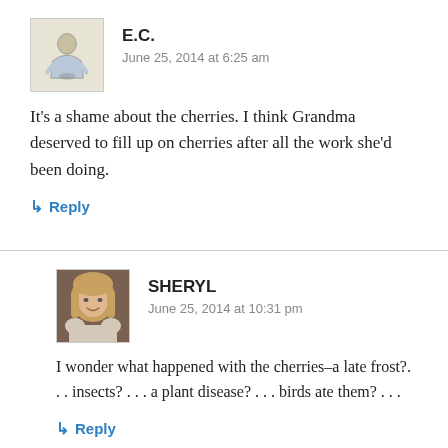[Figure (photo): Avatar image for user E.C. — small cross-stitch or embroidered figure illustration]
E.C.
June 25, 2014 at 6:25 am
It's a shame about the cherries. I think Grandma deserved to fill up on cherries after all the work she'd been doing.
↳ Reply
[Figure (photo): Avatar photo of Sheryl — woman with shoulder-length blonde hair]
SHERYL
June 25, 2014 at 10:31 pm
I wonder what happened with the cherries–a late frost?. . . insects? . . . a plant disease? . . . birds ate them? . . .
↳ Reply